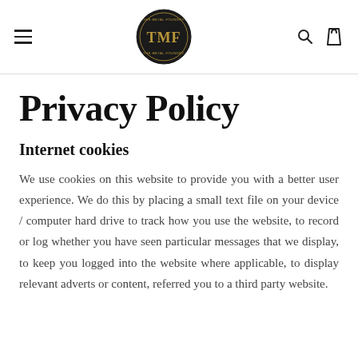TMF - The Metal Foundry [logo, search, bag icons]
Privacy Policy
Internet cookies
We use cookies on this website to provide you with a better user experience. We do this by placing a small text file on your device / computer hard drive to track how you use the website, to record or log whether you have seen particular messages that we display, to keep you logged into the website where applicable, to display relevant adverts or content, referred you to a third party website.